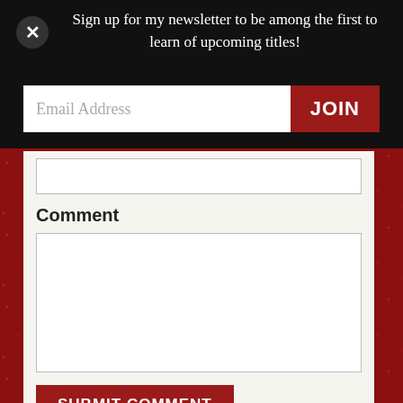Sign up for my newsletter to be among the first to learn of upcoming titles!
Email Address
JOIN
Comment
SUBMIT COMMENT